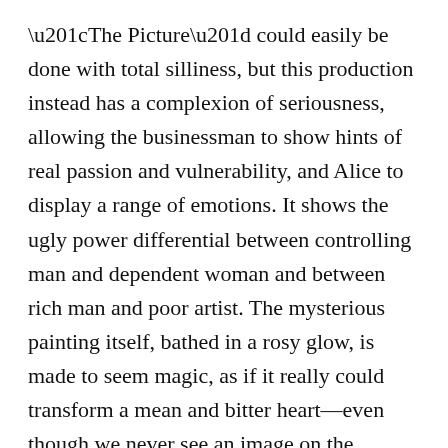“The Picture” could easily be done with total silliness, but this production instead has a complexion of seriousness, allowing the businessman to show hints of real passion and vulnerability, and Alice to display a range of emotions. It shows the ugly power differential between controlling man and dependent woman and between rich man and poor artist. The mysterious painting itself, bathed in a rosy glow, is made to seem magic, as if it really could transform a mean and bitter heart—even though we never see an image on the canvas.
The design and technical choices are effective throughout the three plays, especially for “The Picture.” The toys on the businessman’s desk are clever—brilliant, really—and the decision to hang the